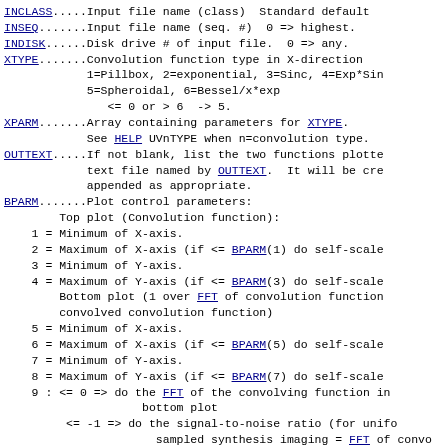INCLASS.....Input file name (class)  Standard defaults
INSEQ.......Input file name (seq. #)  0 => highest.
INDISK......Disk drive # of input file.  0 => any.
XTYPE.......Convolution function type in X-direction
            1=Pillbox, 2=exponential, 3=Sinc, 4=Exp*Sinc
            5=Spheroidal, 6=Bessel/x*exp
               <= 0 or > 6  -> 5.
XPARM.......Array containing parameters for XTYPE.
            See HELP UVnTYPE when n=convolution type.
OUTTEXT.....If not blank, list the two functions plotted
            text file named by OUTTEXT.  It will be created
            appended as appropriate.
BPARM.......Plot control parameters:
        Top plot (Convolution function):
    1 = Minimum of X-axis.
    2 = Maximum of X-axis (if <= BPARM(1) do self-scale
    3 = Minimum of Y-axis.
    4 = Maximum of Y-axis (if <= BPARM(3) do self-scale
        Bottom plot (1 over FFT of convolution function
        convolved convolution function)
    5 = Minimum of X-axis.
    6 = Maximum of X-axis (if <= BPARM(5) do self-scale
    7 = Minimum of Y-axis.
    8 = Maximum of Y-axis (if <= BPARM(7) do self-scale
    9 : <= 0 => do the FFT of the convolving function in
                    bottom plot
         <= -1 => do the signal-to-noise ratio (for uniform
                      sampled synthesis imaging = FFT of convo
                      function divided by FT of SAMPLED
                      autocorrelation of the convolving functi